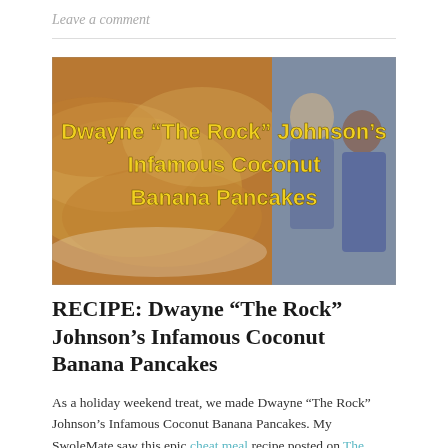Leave a comment
[Figure (photo): Thumbnail image showing coconut banana pancakes on the left and Dwayne The Rock Johnson with a woman cooking on the right, with yellow text overlay reading: Dwayne “The Rock” Johnson’s Infamous Coconut Banana Pancakes]
RECIPE: Dwayne “The Rock” Johnson’s Infamous Coconut Banana Pancakes
As a holiday weekend treat, we made Dwayne “The Rock” Johnson’s Infamous Coconut Banana Pancakes. My SwoleMate saw this epic cheat meal recipe posted on The